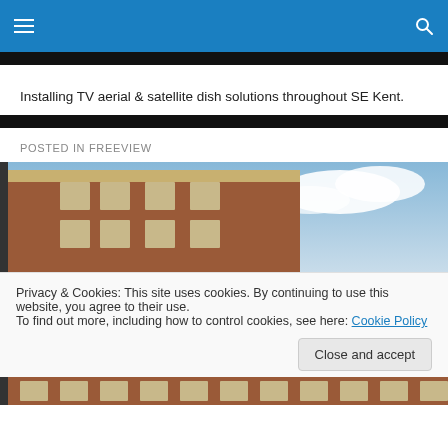Navigation bar with hamburger menu and search icon
Installing TV aerial & satellite dish solutions throughout SE Kent.
POSTED IN FREEVIEW
[Figure (photo): Exterior photo of a red-brick building with ornate stonework and blue cloudy sky]
Privacy & Cookies: This site uses cookies. By continuing to use this website, you agree to their use.
To find out more, including how to control cookies, see here: Cookie Policy
[Figure (photo): Partial exterior photo of brick building at bottom of page]